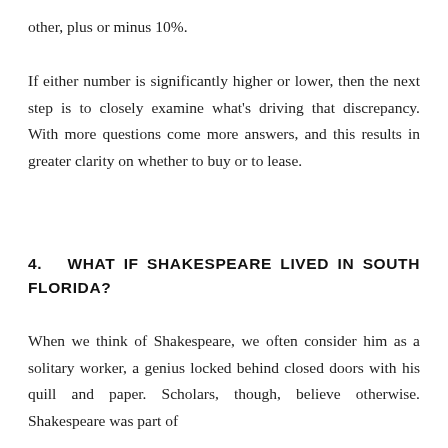other, plus or minus 10%.
If either number is significantly higher or lower, then the next step is to closely examine what's driving that discrepancy. With more questions come more answers, and this results in greater clarity on whether to buy or to lease.
4.   WHAT IF SHAKESPEARE LIVED IN SOUTH FLORIDA?
When we think of Shakespeare, we often consider him as a solitary worker, a genius locked behind closed doors with his quill and paper. Scholars, though, believe otherwise. Shakespeare was part of